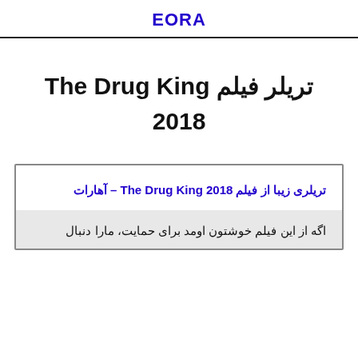EORA
تریلر فیلم The Drug King 2018
تریلری زیبا از فیلم The Drug King 2018 – آهارات
اگه از این فیلم خوشتون اومد برای حمایت، مارا دنبال